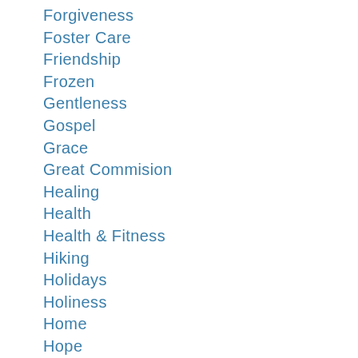Forgiveness
Foster Care
Friendship
Frozen
Gentleness
Gospel
Grace
Great Commision
Healing
Health
Health & Fitness
Hiking
Holidays
Holiness
Home
Hope